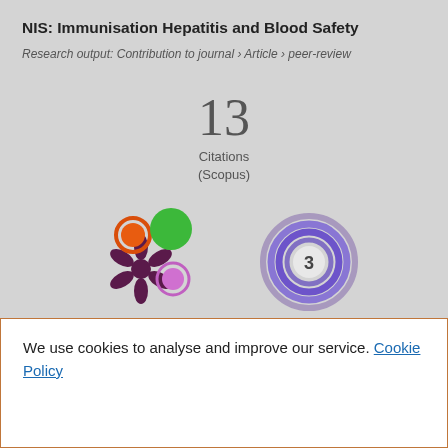NIS: Immunisation Hepatitis and Blood Safety
Research output: Contribution to journal › Article › peer-review
13
Citations
(Scopus)
[Figure (infographic): Altmetric donut-style badge with colorful circles (orange, green, pink) and a snowflake/asterisk shape in dark purple, representing social media mentions. Next to it, a Scopus/PlumX donut badge showing the number 3 in a purple circular ring.]
We use cookies to analyse and improve our service. Cookie Policy